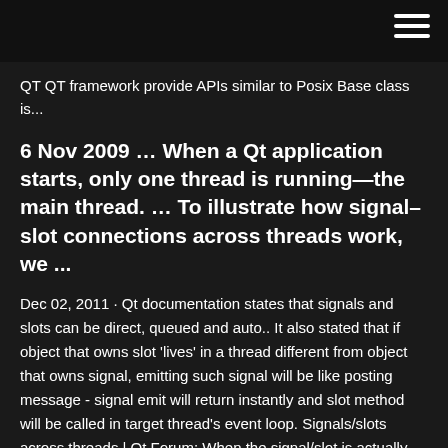QT QT framework provide APIs similar to Posix Base class is...
6 Nov 2009 … When a Qt application starts, only one thread is running—the main thread. … To illustrate how signal–slot connections across threads work, we ...
Dec 02, 2011 · Qt documentation states that signals and slots can be direct, queued and auto.. It also stated that if object that owns slot 'lives' in a thread different from object that owns signal, emitting such signal will be like posting message - signal emit will return instantly and slot method will be called in target thread's event loop. Signals/slots across threads | Qt Forum: When the signal/slot is actually...